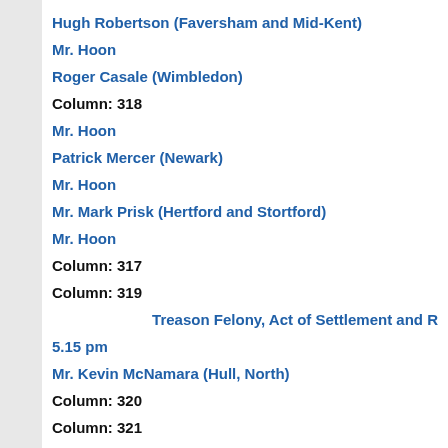Hugh Robertson (Faversham and Mid-Kent)
Mr. Hoon
Roger Casale (Wimbledon)
Column: 318
Mr. Hoon
Patrick Mercer (Newark)
Mr. Hoon
Mr. Mark Prisk (Hertford and Stortford)
Mr. Hoon
Column: 317
Column: 319
Treason Felony, Act of Settlement and R
5.15 pm
Mr. Kevin McNamara (Hull, North)
Column: 320
Column: 321